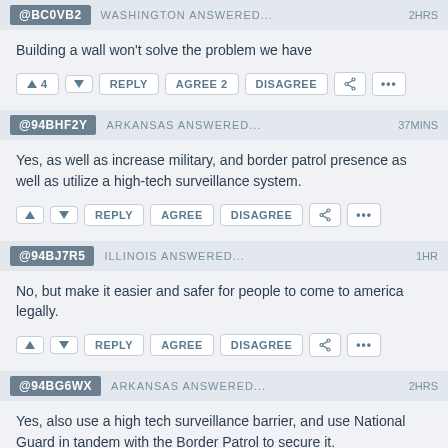@BC0VB2 WASHINGTON ANSWERED... 2HRS
Building a wall won't solve the problem we have
▲ 4  ▼  REPLY  AGREE 2  DISAGREE  🔗  •••
@94BHF2Y ARKANSAS ANSWERED... 37MINS
Yes, as well as increase military, and border patrol presence as well as utilize a high-tech surveillance system.
▲  ▼  REPLY  AGREE  DISAGREE  🔗  •••
@94BJ7R5 ILLINOIS ANSWERED... 1HR
No, but make it easier and safer for people to come to america legally.
▲  ▼  REPLY  AGREE  DISAGREE  🔗  •••
@94BG6WX ARKANSAS ANSWERED... 2HRS
Yes, also use a high tech surveillance barrier, and use National Guard in tandem with the Border Patrol to secure it.